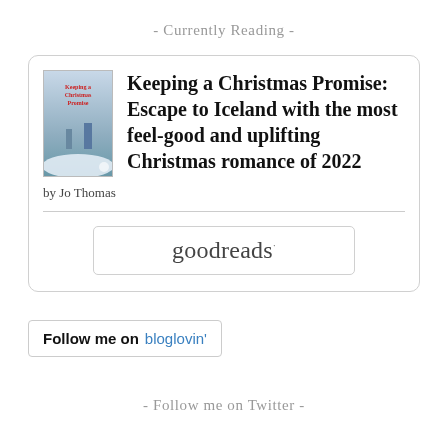- Currently Reading -
[Figure (other): Book card widget showing 'Keeping a Christmas Promise: Escape to Iceland with the most feel-good and uplifting Christmas romance of 2022' by Jo Thomas, with a book cover image on the left, and a goodreads button below.]
Keeping a Christmas Promise: Escape to Iceland with the most feel-good and uplifting Christmas romance of 2022
by Jo Thomas
[Figure (logo): goodreads logo button]
[Figure (logo): Follow me on bloglovin' button]
- Follow me on Twitter -